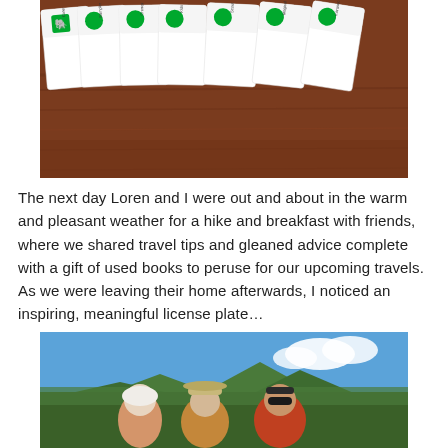[Figure (photo): Photo of several Evernote branded cards/leaflets laid out on a wooden table surface. Each card shows the green Evernote elephant logo and text.]
The next day Loren and I were out and about in the warm and pleasant weather for a hike and breakfast with friends, where we shared travel tips and gleaned advice complete with a gift of used books to peruse for our upcoming travels. As we were leaving their home afterwards, I noticed an inspiring, meaningful license plate…
[Figure (photo): Outdoor photo of three people (two adults and a child partially visible) smiling in front of a scenic landscape with green forested hills and a blue sky with clouds.]